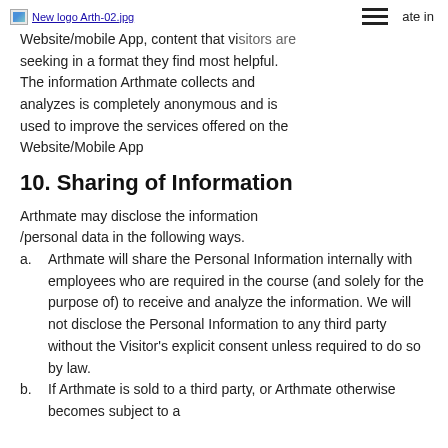New logo Arth-02.jpg   [menu icon]   ate in
Website/mobile App, content that visitors are seeking in a format they find most helpful. The information Arthmate collects and analyzes is completely anonymous and is used to improve the services offered on the Website/Mobile App
10. Sharing of Information
Arthmate may disclose the information /personal data in the following ways.
a.    Arthmate will share the Personal Information internally with employees who are required in the course (and solely for the purpose of) to receive and analyze the information. We will not disclose the Personal Information to any third party without the Visitor's explicit consent unless required to do so by law.
b.    If Arthmate is sold to a third party, or Arthmate otherwise becomes subject to a